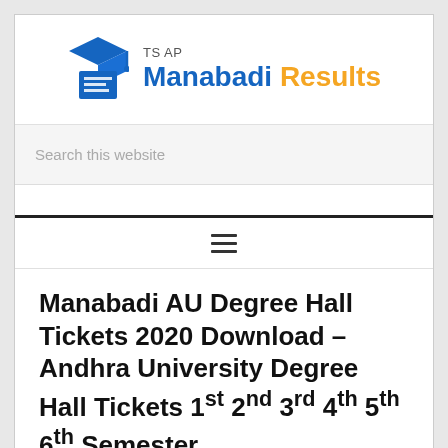[Figure (logo): TS AP Manabadi Results logo with graduation cap and document icon in blue, text 'TS AP' in grey and 'Manabadi' in blue 'Results' in orange]
Search this website
Manabadi AU Degree Hall Tickets 2020 Download – Andhra University Degree Hall Tickets 1st 2nd 3rd 4th 5th 6th Semester